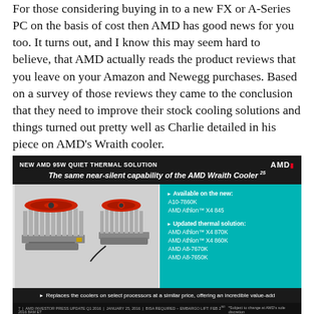For those considering buying in to a new FX or A-Series PC on the basis of cost then AMD has good news for you too. It turns out, and I know this may seem hard to believe, that AMD actually reads the product reviews that you leave on your Amazon and Newegg purchases. Based on a survey of those reviews they came to the conclusion that they need to improve their stock cooling solutions and things turned out pretty well as Charlie detailed in his piece on AMD's Wraith cooler.
[Figure (infographic): AMD slide: NEW AMD 95W QUIET THERMAL SOLUTION. Tagline: The same near-silent capability of the AMD Wraith Cooler. Shows two red AMD coolers side by side. Right panel (teal): Available on the new: A10-7860K, AMD Athlon X4 845. Updated thermal solution: AMD Athlon X4 870K, AMD Athlon X4 860K, AMD A8-7670K, AMD A8-7650K. Bottom bar: Replaces the coolers on select processors at a similar price, offering an incredible value-add. Footer: 7 | AMD INVESTOR PRESS UPDATE Q1 2016 | JANUARY 25, 2016 | BISA REQUIRED - EMBARGO LIFT: FEB 2ND 2016 8AM ET. *Subject to change at AMD's sole discretion.]